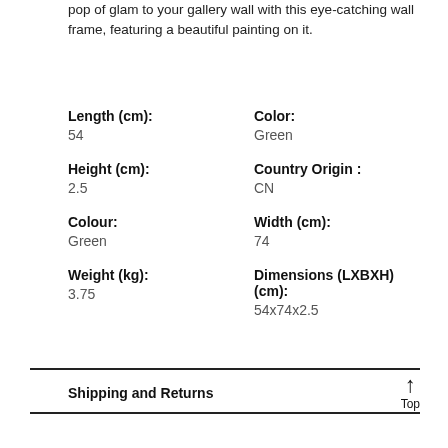pop of glam to your gallery wall with this eye-catching wall frame, featuring a beautiful painting on it.
| Attribute | Value |
| --- | --- |
| Length (cm): | 54 |
| Color: | Green |
| Height (cm): | 2.5 |
| Country Origin : | CN |
| Colour: | Green |
| Width (cm): | 74 |
| Weight (kg): | 3.75 |
| Dimensions (LXBXH) (cm): | 54x74x2.5 |
Shipping and Returns